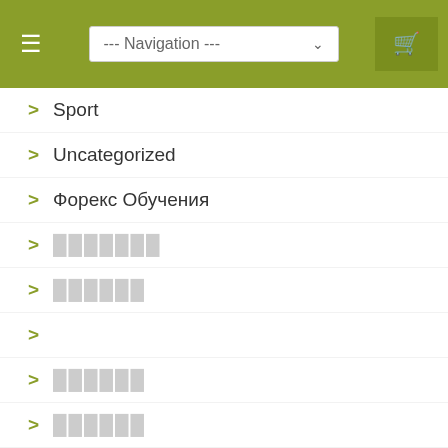Navigation menu bar with hamburger icon, navigation dropdown, and cart icon
> Sport
> Uncategorized
> Форекс Обучения
> [obscured text]
> [obscured text]
>
> [obscured text]
> [obscured text]
> [obscured text]
> [obscured text]
> [obscured text]
> [obscured text]
> [obscured text]